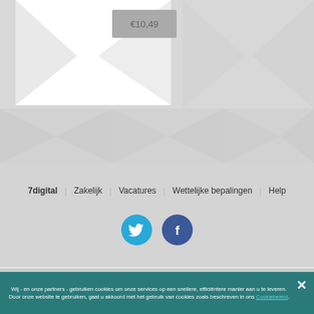€10,49
[Figure (screenshot): Background pattern with geometric shapes on grey background]
7digital   Zakelijk   Vacatures   Wettelijke bepalingen   Help
[Figure (other): Twitter and Facebook social media icon buttons]
Terug naar boven
Wij - en onze partners - gebruiken cookies om onze services op een snellere, efficiëntere manier aan u te leveren. Door onze website te gebruiken, gaat u akkoord met het gebruik van cookies zoals beschreven in ons Cookiebeleid.